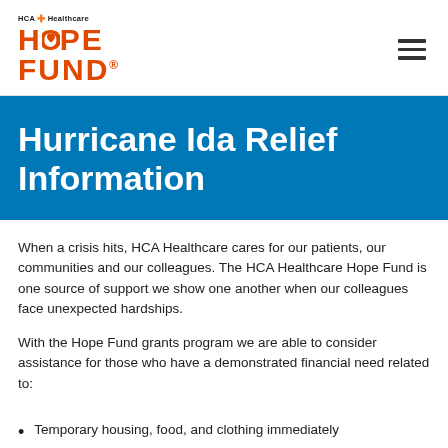[Figure (logo): HCA Healthcare Hope Fund logo with orange HOPE FUND text and heart icon]
Hurricane Ida Relief Information
When a crisis hits, HCA Healthcare cares for our patients, our communities and our colleagues.  The HCA Healthcare Hope Fund is one source of support we show one another when our colleagues face unexpected hardships.
With the Hope Fund grants program we are able to consider assistance for those who have a demonstrated financial need related to:
Temporary housing, food, and clothing immediately